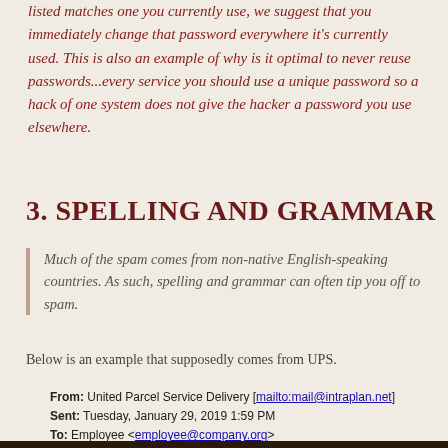listed matches one you currently use, we suggest that you immediately change that password everywhere it's currently used. This is also an example of why is it optimal to never reuse passwords...every service you should use a unique password so a hack of one system does not give the hacker a password you use elsewhere.
3. SPELLING AND GRAMMAR
Much of the spam comes from non-native English-speaking countries. As such, spelling and grammar can often tip you off to spam.
Below is an example that supposedly comes from UPS.
From: United Parcel Service Delivery [mailto:mail@intraplan.net]
Sent: Tuesday, January 29, 2019 1:59 PM
To: Employee <employee@company.org>
Subject: UPS Delivery issue